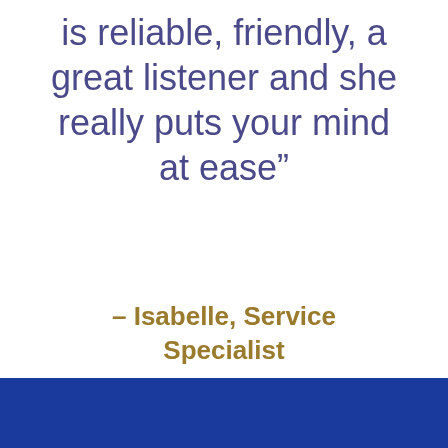is reliable, friendly, a great listener and she really puts your mind at ease”
– Isabelle, Service Specialist